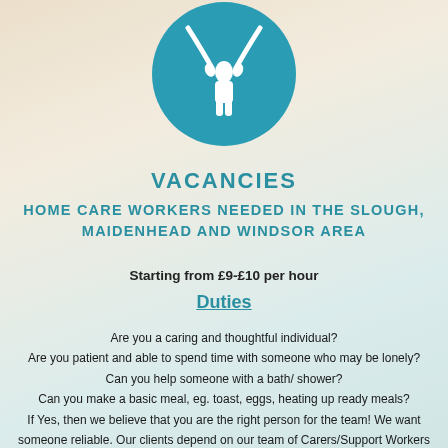[Figure (logo): Teal circular icon with a person figure and two hands reaching from above, on a teal background circle]
VACANCIES
HOME CARE WORKERS  NEEDED IN THE SLOUGH, MAIDENHEAD AND  WINDSOR AREA
Starting from £9-£10 per hour
Duties
Are you a caring and thoughtful individual?
Are you patient and able to spend time with someone who may be lonely?
Can you help someone with a bath/ shower?
Can you make a basic meal, eg. toast, eggs, heating up ready meals?
If Yes, then we believe that you are the right person for the team! We want someone reliable. Our clients depend on our team of Carers/Support Workers